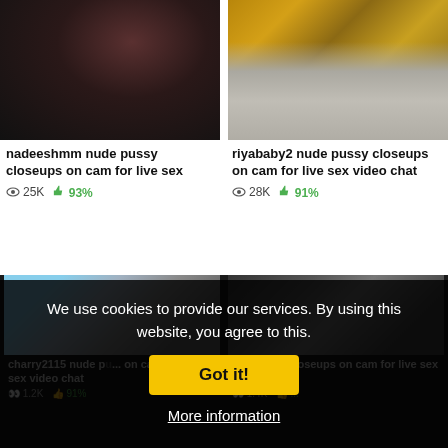[Figure (screenshot): Thumbnail image 1 - dark close-up photo]
[Figure (screenshot): Thumbnail image 2 - yellow/beige bedsheet close-up]
nadeeshmm nude pussy closeups on cam for live sex
👁 25K  👍 93%
riyababy2 nude pussy closeups on cam for live sex video chat
👁 28K  👍 91%
[Figure (screenshot): Thumbnail 3 - woman in car]
[Figure (screenshot): Thumbnail 4 - dark close-up]
charry2115 nude p... on cam for live sex video chat
...le pussy closeups on cam for live sex video chat
We use cookies to provide our services. By using this website, you agree to this.
Got it!
More information